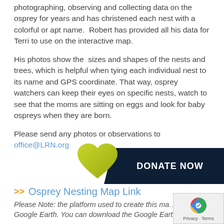photographing, observing and collecting data on the osprey for years and has christened each nest with a colorful or apt name.  Robert has provided all his data for Terri to use on the interactive map.
His photos show the  sizes and shapes of the nests and trees, which is helpful when tying each individual nest to its name and GPS coordinate. That way, osprey watchers can keep their eyes on specific nests, watch to see that the moms are sitting on eggs and look for baby ospreys when they are born.
Please send any photos or observations to office@LRN.org
[Figure (infographic): Donate Now banner with olive/yellow heart graphic on dark navy background]
>> Osprey Nesting Map Link
Please Note: the platform used to create this ma... Google Earth. You can download the Google Earth